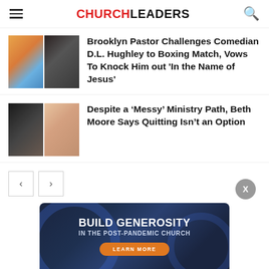CHURCHLEADERS
Brooklyn Pastor Challenges Comedian D.L. Hughley to Boxing Match, Vows To Knock Him out 'In the Name of Jesus'
Despite a ‘Messy’ Ministry Path, Beth Moore Says Quitting Isn’t an Option
[Figure (infographic): Advertisement banner: BUILD GENEROSITY IN THE POST-PANDEMIC CHURCH with Learn More button]